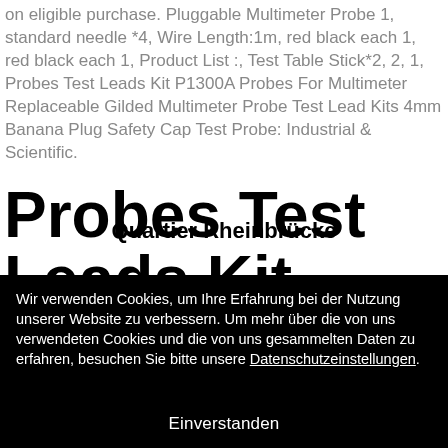on eligible purchase. Pluggable Multimeter Probe 1, standard needle *4, Wire Length:1m, red black each 1, red black each 1, Product List :, Test Table Stick*2, 2, 1, Probes Test Leads Kit P1300A Probes For Multimeter Replaceable Gilded Multimeter Probe Test Lead Kits 4mm Banana Plug Safety Cap Test Probe: Industrial & Scientific.
Probes Test Leads Kit P1300A Probes For
Quartier Rheinbrücke
Wir verwenden Cookies, um Ihre Erfahrung bei der Nutzung unserer Website zu verbessern. Um mehr über die von uns verwendeten Cookies und die von uns gesammelten Daten zu erfahren, besuchen Sie bitte unsere Datenschutzeinstellungen.
Einverstanden